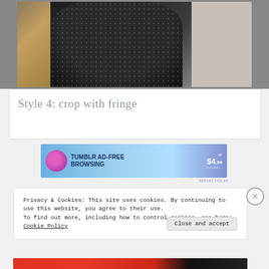[Figure (photo): Person wearing a black sparkly/dotted top, photographed from the side/chest up, bathroom setting visible in background]
Style 4: crop with fringe
[Figure (infographic): Tumblr advertisement banner: TUMBLR AD-FREE BROWSING or $4.99 a month]
REPORT THIS AD
Privacy & Cookies: This site uses cookies. By continuing to use this website, you agree to their use.
To find out more, including how to control cookies, see here: Cookie Policy
Close and accept